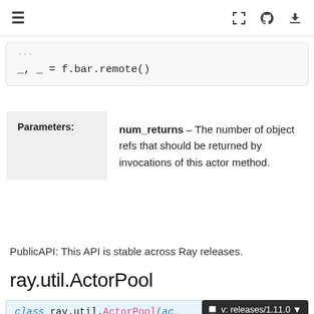Navigation bar with hamburger menu, fullscreen, GitHub, and download icons
_, _ = f.bar.remote()
| Parameters: | num_returns – The number of object refs that should be returned by invocations of this actor method. |
| --- | --- |
PublicAPI: This API is stable across Ray releases.
ray.util.ActorPool
class ray.util.ActorPool(actors)
Utility class to operate on a fixed pool of actors.